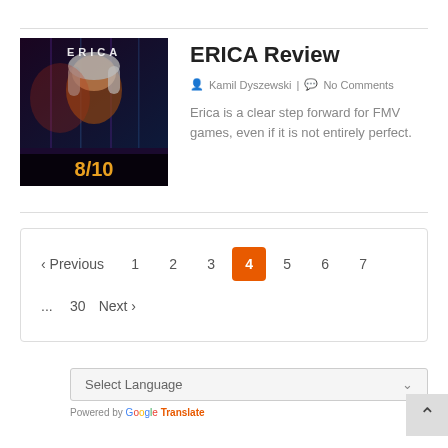[Figure (photo): ERICA game cover art showing a young woman with grey hair against a dark purple background with the text ERICA. Score overlay reads 8/10 in orange.]
ERICA Review
Kamil Dyszewski | No Comments
Erica is a clear step forward for FMV games, even if it is not entirely perfect.
< Previous  1  2  3  4  5  6  7  ...  30  Next >
Select Language
Powered by Google Translate